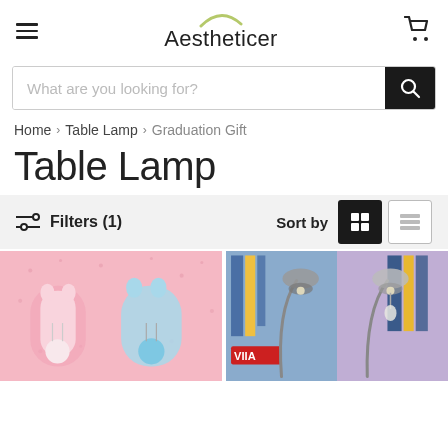Aestheticer
What are you looking for?
Home > Table Lamp > Graduation Gift
Table Lamp
Filters (1)   Sort by
[Figure (photo): Two table lamp product images: left shows pink and blue cat-ear shaped mini lamps on pink background; right shows a gooseneck desk lamp with pendant shade, split view.]